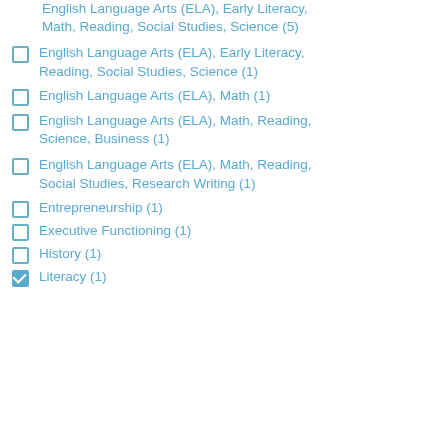English Language Arts (ELA), Early Literacy, Math, Reading, Social Studies, Science (5)
English Language Arts (ELA), Early Literacy, Reading, Social Studies, Science (1)
English Language Arts (ELA), Math (1)
English Language Arts (ELA), Math, Reading, Science, Business (1)
English Language Arts (ELA), Math, Reading, Social Studies, Research Writing (1)
Entrepreneurship (1)
Executive Functioning (1)
History (1)
Literacy (1)